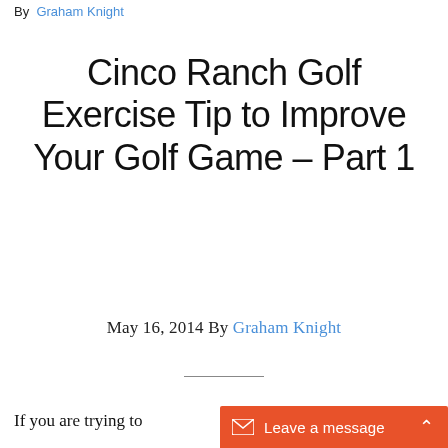By Graham Knight
Cinco Ranch Golf Exercise Tip to Improve Your Golf Game – Part 1
May 16, 2014 By Graham Knight
If you are trying to